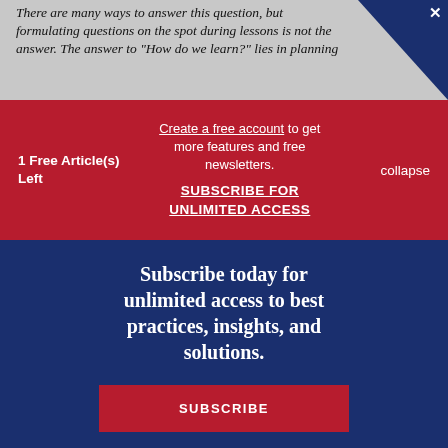There are many ways to answer this question, but formulating questions on the spot during lessons is not the answer. The answer to "How do we learn?" lies in planning
1 Free Article(s) Left
Create a free account to get more features and free newsletters. SUBSCRIBE FOR UNLIMITED ACCESS
collapse
Subscribe today for unlimited access to best practices, insights, and solutions.
SUBSCRIBE